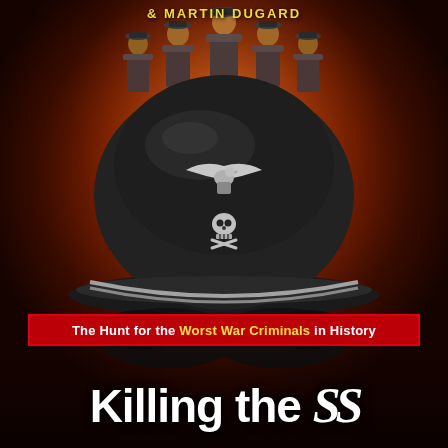[Figure (illustration): Book cover for 'Killing the SS' by Bill O'Reilly and Martin Dugard. Features a dark reddish-brown background with five Nazi officers in the upper background, a large black SS officer's peaked cap with eagle insignia and skull badge in the center, black leather gloves below the cap, a red subtitle banner reading 'The Hunt for the Worst War Criminals in History', and large white bold title text 'Killing the SS' at the bottom.]
& MARTIN DUGARD
The Hunt for the Worst War Criminals in History
Killing the SS